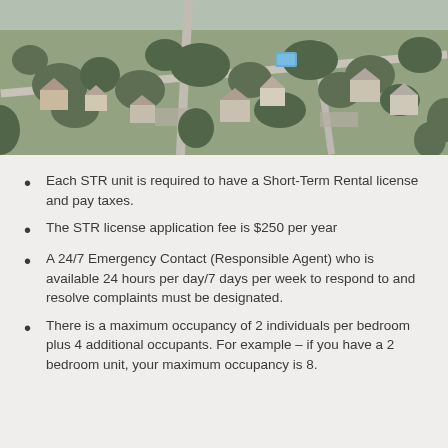[Figure (photo): Aerial photograph of a mountain town neighborhood with houses, trees, roads, and a small pool/blue area visible among residential properties.]
Each STR unit is required to have a Short-Term Rental license and pay taxes.
The STR license application fee is $250 per year
A 24/7 Emergency Contact (Responsible Agent) who is available 24 hours per day/7 days per week to respond to and resolve complaints must be designated.
There is a maximum occupancy of 2 individuals per bedroom plus 4 additional occupants. For example – if you have a 2 bedroom unit, your maximum occupancy is 8.